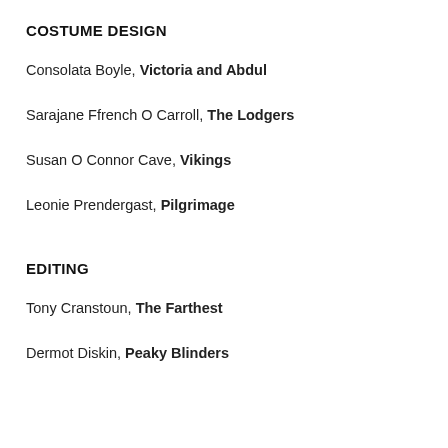COSTUME DESIGN
Consolata Boyle, Victoria and Abdul
Sarajane Ffrench O Carroll, The Lodgers
Susan O Connor Cave, Vikings
Leonie Prendergast, Pilgrimage
EDITING
Tony Cranstoun, The Farthest
Dermot Diskin, Peaky Blinders